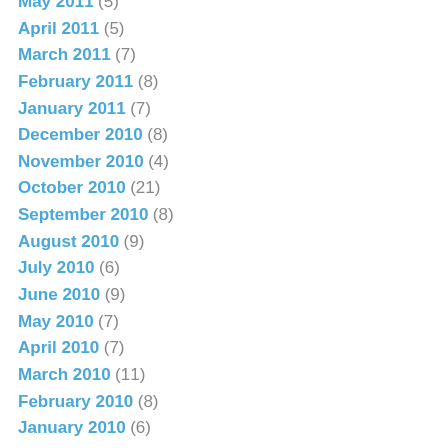May 2011 (5)
April 2011 (5)
March 2011 (7)
February 2011 (8)
January 2011 (7)
December 2010 (8)
November 2010 (4)
October 2010 (21)
September 2010 (8)
August 2010 (9)
July 2010 (6)
June 2010 (9)
May 2010 (7)
April 2010 (7)
March 2010 (11)
February 2010 (8)
January 2010 (6)
December 2009 (11)
November 2009 (8)
October 2009 (19)